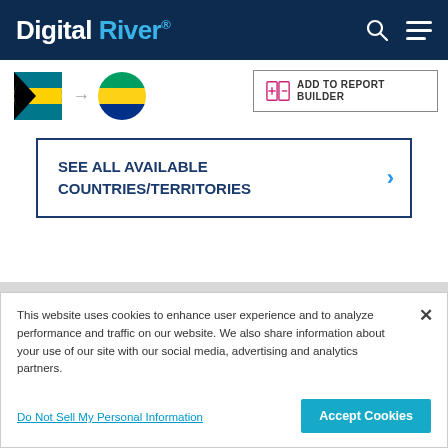Digital River
[Figure (logo): Bahamas flag circle, arrow, Gabon flag circle, and Add to Report Builder button]
SEE ALL AVAILABLE COUNTRIES/TERRITORIES
This website uses cookies to enhance user experience and to analyze performance and traffic on our website. We also share information about your use of our site with our social media, advertising and analytics partners.
Do Not Sell My Personal Information
Accept Cookies